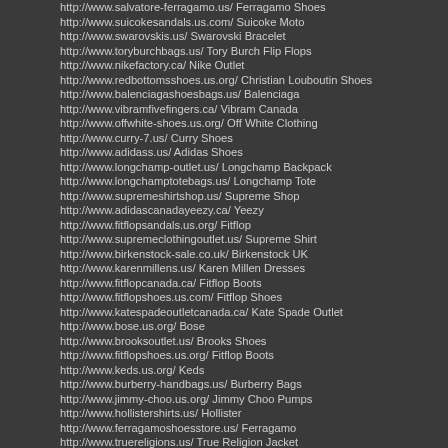http://www.salvatore-ferragamo.us/ Ferragamo Shoes
http://www.suicokesandals.us.com/ Suicoke Moto
http://www.swarovskis.us/ Swarovski Bracelet
http://www.toryburchbags.us/ Tory Burch Flip Flops
http://www.nikefactory.ca/ Nike Outlet
http://www.redbottomsshoes.us.org/ Christian Louboutin Shoes
http://www.balenciagashoesbags.us/ Balenciaga
http://www.vibramfivefingers.ca/ Vibram Canada
http://www.offwhite-shoes.us.org/ Off White Clothing
http://www.curry-7.us/ Curry Shoes
http://www.adidass.us/ Adidas Shoes
http://www.longchamp-outlet.us/ Longchamp Backpack
http://www.longchamptotebags.us/ Longchamp Tote
http://www.supremeshirtshop.us/ Supreme Shop
http://www.adidascanadayeezy.ca/ Yeezy
http://www.fitflopsandals.us.org/ Fitflop
http://www.supremeclothingoutlet.us/ Supreme Shirt
http://www.birkenstock-sale.co.uk/ Birkenstock UK
http://www.karenmillens.us/ Karen Millen Dresses
http://www.fitflopcanada.ca/ Fitflop Boots
http://www.fitflopshoes.us.com/ Fitflop Shoes
http://www.katespadeoutletcanada.ca/ Kate Spade Outlet
http://www.bose.us.org/ Bose
http://www.brooksoutlet.us/ Brooks Shoes
http://www.fitflopshoes.us.org/ Fitflop Boots
http://www.keds.us.org/ Keds
http://www.burberry-handbags.us/ Burberry Bags
http://www.jimmy-choo.us.org/ Jimmy Choo Pumps
http://www.hollistershirts.us/ Hollister
http://www.ferragamoshoesstore.us/ Ferragamo
http://www.truereligions.us/ True Religion Jacket